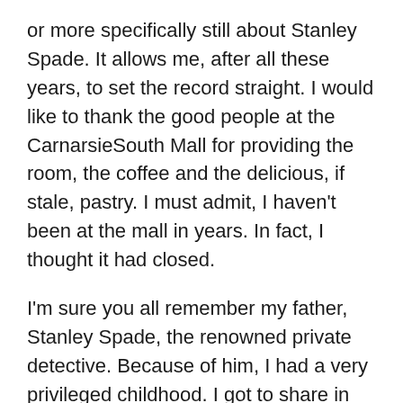or more specifically still about Stanley Spade.  It allows me, after all these years, to set the record straight.  I would like to thank the good people at the CarnarsieSouth Mall for providing the room, the coffee and the delicious, if stale, pastry. I must admit, I haven't been at the mall in years.  In fact, I thought it had closed.
I'm sure you all remember my father, Stanley Spade, the renowned private detective.  Because of him, I had a very privileged childhood.  I got to share in the excitement that Stan, the man, generated.  He radiated energy, like a nuclear reactor set just low of too high. We could do nothing else but take that lunacy aboard. There were twelve of us included in that “we.”  “All boys and all boy”, Stanley would wisely say, although his syntax left much to be desired.  Stanley married nine women, but never